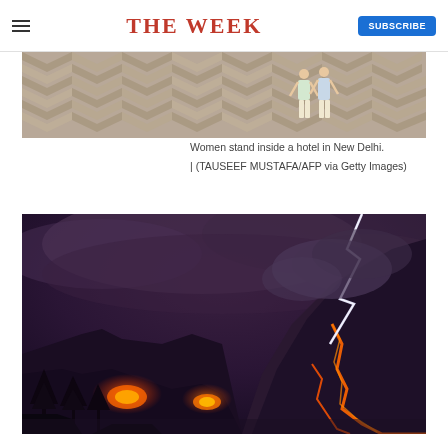THE WEEK | SUBSCRIBE
[Figure (photo): Women stand inside a hotel in New Delhi, with a decorative zigzag patterned floor; two people visible in the background.]
Women stand inside a hotel in New Delhi. | (TAUSEEF MUSTAFA/AFP via Getty Images)
[Figure (photo): A volcano erupting at night with lava flows and a lightning bolt visible against a dark cloudy sky, with trees silhouetted in the foreground.]